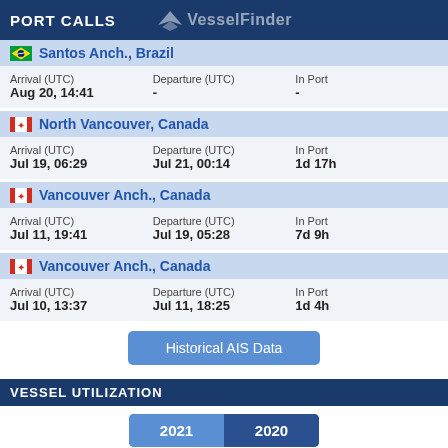PORT CALLS
Santos Anch., Brazil
| Arrival (UTC) | Departure (UTC) | In Port |
| --- | --- | --- |
| Aug 20, 14:41 | - | - |
North Vancouver, Canada
| Arrival (UTC) | Departure (UTC) | In Port |
| --- | --- | --- |
| Jul 19, 06:29 | Jul 21, 00:14 | 1d 17h |
Vancouver Anch., Canada
| Arrival (UTC) | Departure (UTC) | In Port |
| --- | --- | --- |
| Jul 11, 19:41 | Jul 19, 05:28 | 7d 9h |
Vancouver Anch., Canada
| Arrival (UTC) | Departure (UTC) | In Port |
| --- | --- | --- |
| Jul 10, 13:37 | Jul 11, 18:25 | 1d 4h |
Historical AIS Data
VESSEL UTILIZATION
2021  2020